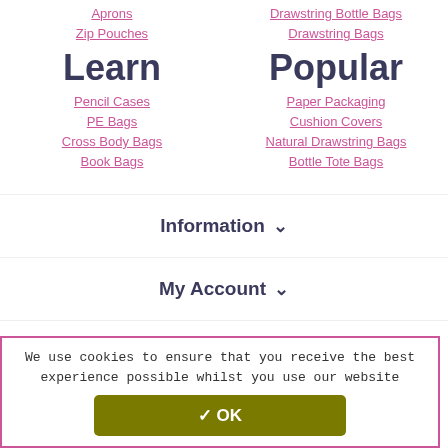Aprons
Zip Pouches
Drawstring Bottle Bags
Drawstring Bags
Learn
Popular
Pencil Cases
PE Bags
Cross Body Bags
Book Bags
Paper Packaging
Cushion Covers
Natural Drawstring Bags
Bottle Tote Bags
Information ∨
My Account ∨
Find Out More ∨
We use cookies to ensure that you receive the best experience possible whilst you use our website
✓ OK